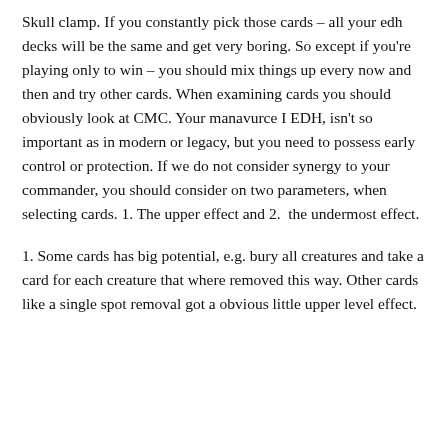Skull clamp. If you constantly pick those cards – all your edh decks will be the same and get very boring. So except if you're playing only to win – you should mix things up every now and then and try other cards. When examining cards you should obviously look at CMC. Your manavurce I EDH, isn't so important as in modern or legacy, but you need to possess early control or protection. If we do not consider synergy to your commander, you should consider on two parameters, when selecting cards. 1. The upper effect and 2. the undermost effect.
1. Some cards has big potential, e.g. bury all creatures and take a card for each creature that where removed this way. Other cards like a single spot removal got a obvious little upper level effect.